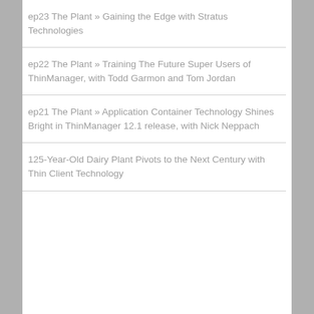ep23 The Plant » Gaining the Edge with Stratus Technologies
ep22 The Plant » Training The Future Super Users of ThinManager, with Todd Garmon and Tom Jordan
ep21 The Plant » Application Container Technology Shines Bright in ThinManager 12.1 release, with Nick Neppach
125-Year-Old Dairy Plant Pivots to the Next Century with Thin Client Technology
THINMANAGER LINKS
We use cookies to personalize content and ads, provide social media features, and analyze our traffic. To find out more about the cookies we use, see our Privacy Policy.
Accept  Decline